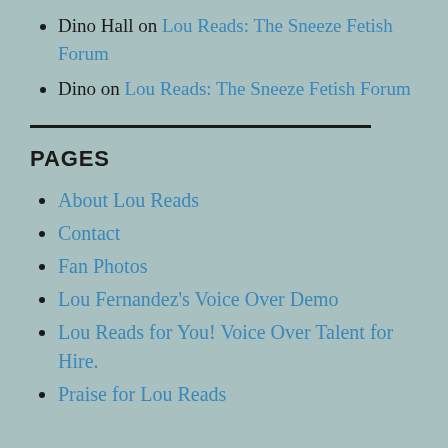Dino Hall on Lou Reads: The Sneeze Fetish Forum
Dino on Lou Reads: The Sneeze Fetish Forum
PAGES
About Lou Reads
Contact
Fan Photos
Lou Fernandez's Voice Over Demo
Lou Reads for You! Voice Over Talent for Hire.
Praise for Lou Reads